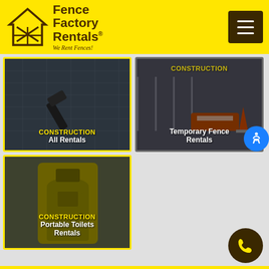[Figure (logo): Fence Factory Rentals logo with house/fence icon and tagline 'We Rent Fences!']
[Figure (screenshot): Navigation hamburger menu button (dark brown with three white lines)]
[Figure (photo): Construction card - All Rentals: dark overlay image of hammer and blueprints with yellow CONSTRUCTION label and white 'All Rentals' subtitle]
[Figure (photo): Construction card - Temporary Fence Rentals: dark overlay image of construction fence and traffic barrier with yellow CONSTRUCTION label and white 'Temporary Fence Rentals' subtitle]
[Figure (photo): Construction card - Portable Toilets Rentals: dark overlay image of yellow portable toilet with yellow CONSTRUCTION label and white 'Portable Toilets Rentals' subtitle]